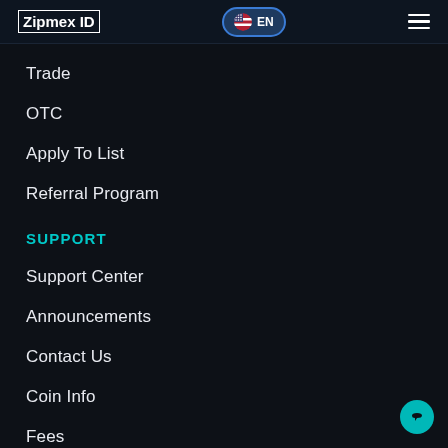Zipmex ID | EN
Trade
OTC
Apply To List
Referral Program
SUPPORT
Support Center
Announcements
Contact Us
Coin Info
Fees
Copyright © 2022 Zipmex. All Rights Reserved.